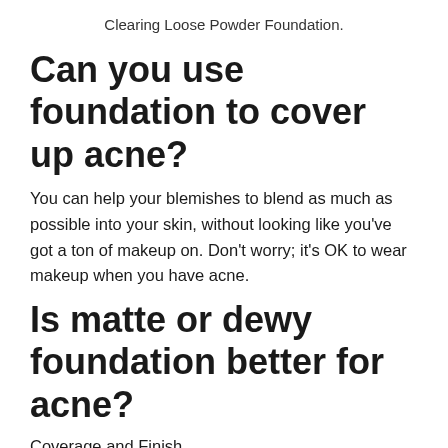Clearing Loose Powder Foundation.
Can you use foundation to cover up acne?
You can help your blemishes to blend as much as possible into your skin, without looking like you've got a ton of makeup on. Don't worry; it's OK to wear makeup when you have acne.
Is matte or dewy foundation better for acne?
Coverage and Finish
This is essentially a personal choice, but